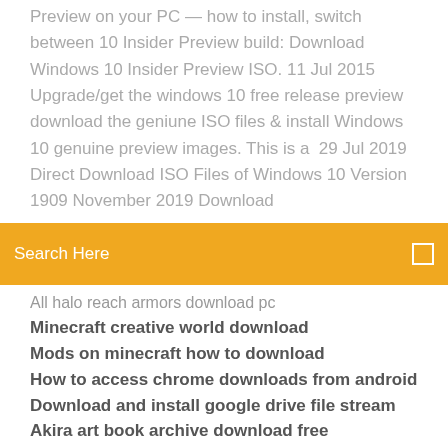Preview on your PC — how to install, switch between 10 Insider Preview build: Download Windows 10 Insider Preview ISO. 11 Jul 2015 Upgrade/get the windows 10 free release preview download the geniune ISO files & install Windows 10 genuine preview images. This is a 29 Jul 2019 Direct Download ISO Files of Windows 10 Version 1909 November 2019 Download
[Figure (screenshot): Search bar with orange background reading 'Search Here' and a small icon on the right]
All halo reach armors download pc
Minecraft creative world download
Mods on minecraft how to download
How to access chrome downloads from android
Download and install google drive file stream
Akira art book archive download free
How to download a file on google driv
40 hz light therapy mp4 download
Download gratis driver printer epson l565
Download precious 2009 mp4 free